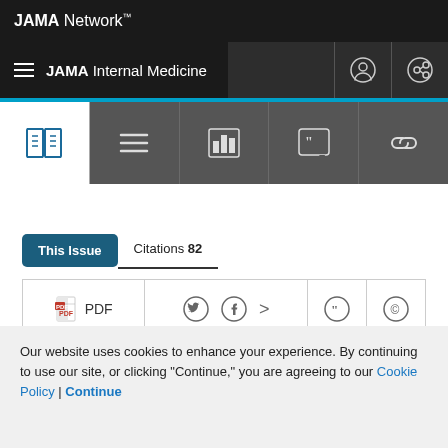JAMA Network
JAMA Internal Medicine
[Figure (screenshot): Icon toolbar with book, list, bar chart, quote, and link icons]
This Issue   Citations 82
[Figure (screenshot): Action bar with PDF download, social share icons (Twitter, Facebook, more), quote, and copyright icons]
Our website uses cookies to enhance your experience. By continuing to use our site, or clicking "Continue," you are agreeing to our Cookie Policy | Continue